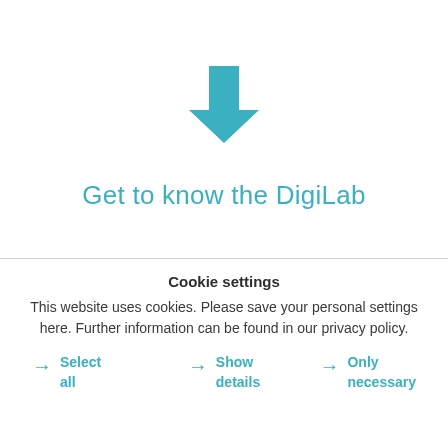[Figure (illustration): A teal/turquoise downward-pointing arrow icon]
Get to know the DigiLab
Cookie settings
This website uses cookies. Please save your personal settings here. Further information can be found in our privacy policy.
→ Select all
→ Show details
→ Only necessary